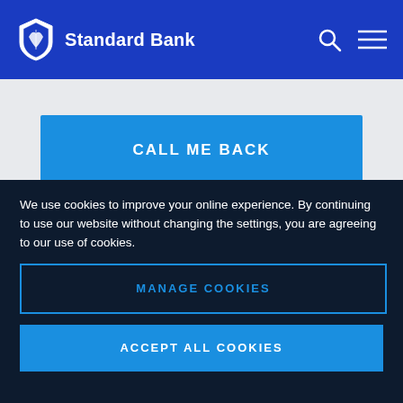Standard Bank
[Figure (other): CALL ME BACK blue button]
[Figure (other): LOGIN outlined button]
We use cookies to improve your online experience. By continuing to use our website without changing the settings, you are agreeing to our use of cookies.
[Figure (other): MANAGE COOKIES outlined button]
[Figure (other): ACCEPT ALL COOKIES blue button]